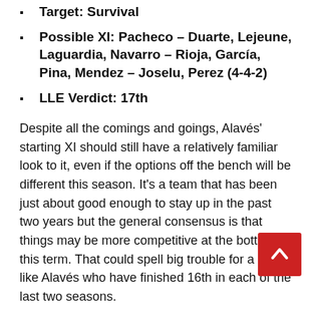Target: Survival
Possible XI: Pacheco – Duarte, Lejeune, Laguardia, Navarro – Rioja, García, Pina, Mendez – Joselu, Perez (4-4-2)
LLE Verdict: 17th
Despite all the comings and goings, Alavés' starting XI should still have a relatively familiar look to it, even if the options off the bench will be different this season. It's a team that has been just about good enough to stay up in the past two years but the general consensus is that things may be more competitive at the bottom this term. That could spell big trouble for a side like Alavés who have finished 16th in each of the last two seasons.
There are fairly clear flaws in this team but they do